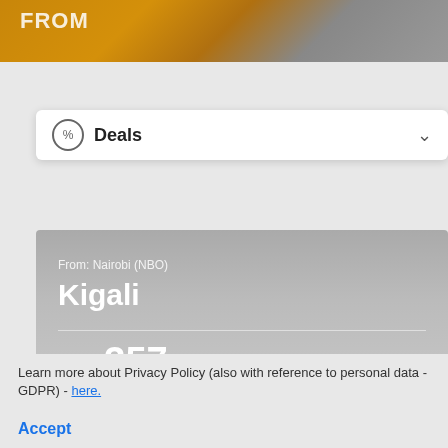[Figure (photo): Partial travel promotional image with orange/sunset background and text 'FROM' visible]
Deals
From: Nairobi (NBO)
Kigali
FROM 357 USD
UGANDA
From: Nairobi (NBO)
Learn more about Privacy Policy (also with reference to personal data - GDPR) - here.
Accept